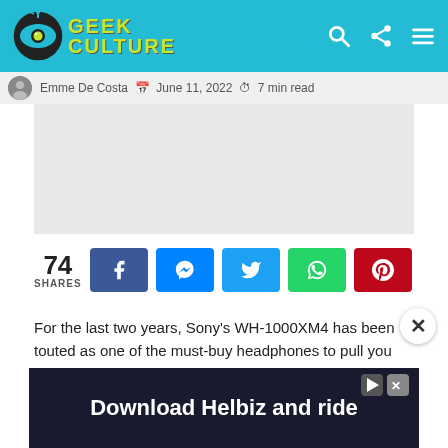Geek Culture
Emme De Costa · June 11, 2022 · 7 min read
[Figure (other): Advertisement placeholder]
74 SHARES
For the last two years, Sony's WH-1000XM4 has been touted as one of the must-buy headphones to pull you out of noisy spaces, with its amazing noise cancellation technology and superior sound. It's hard to stay at the top for that long, but Sony has proven that it will remain king with the WH-1000XM5. With a fresh look and
[Figure (other): Download Helbiz and ride advertisement banner]